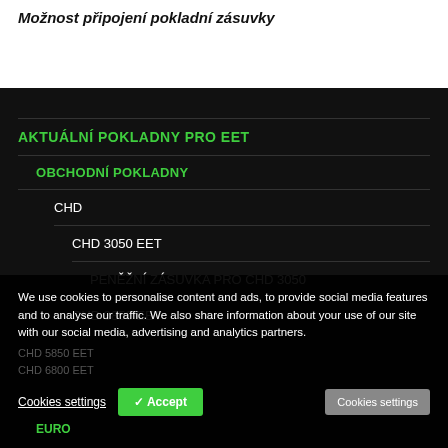Možnost připojení pokladní zásuvky
AKTUÁLNÍ POKLADNY PRO EET
OBCHODNÍ POKLADNY
CHD
CHD 3050 EET
PENĚŽNÍ ZÁSUVKA PRO CHD 3050
CHD 3850 EET
CHD 5850 EET
CHD 6800 EET
EURO
We use cookies to personalise content and ads, to provide social media features and to analyse our traffic. We also share information about your use of our site with our social media, advertising and analytics partners.